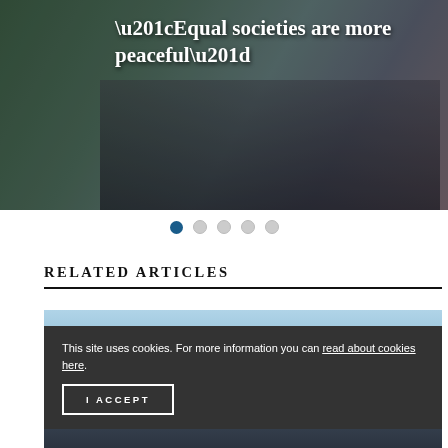[Figure (photo): Crowd of people at a protest or march, with flags visible, dark/muted tones]
“Equal societies are more peaceful”
Pagination dots: 5 dots, first one active (filled blue)
RELATED ARTICLES
[Figure (photo): Outdoor winter or daytime scene with blue sky]
This site uses cookies. For more information you can read about cookies here.
I ACCEPT